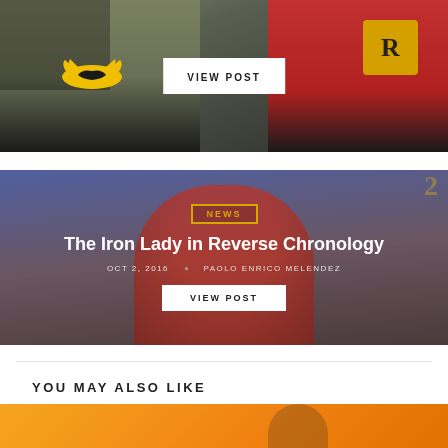[Figure (photo): Batman and Robin cosplay photo with VIEW POST button overlay]
[Figure (photo): News article card: The Iron Lady in Reverse Chronology. Photo of a woman in red dress speaking at a podium. Overlaid with NEWS tag, article title, date, author, and VIEW POST button.]
YOU MAY ALSO LIKE
[Figure (photo): Partial orange-background image at bottom of page]